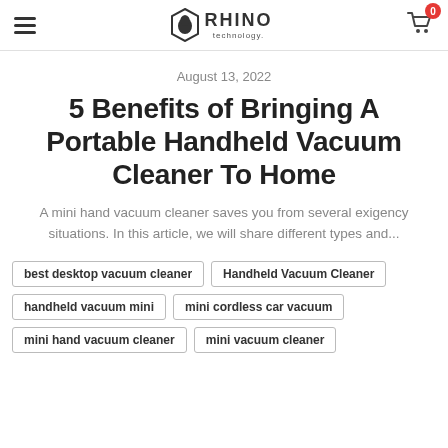Rhino Technology — navigation header with hamburger menu, logo, and cart icon showing 0 items
August 13, 2022
5 Benefits of Bringing A Portable Handheld Vacuum Cleaner To Home
A mini hand vacuum cleaner saves you from several exigency situations. In this article, we will share different types and...
best desktop vacuum cleaner
Handheld Vacuum Cleaner
handheld vacuum mini
mini cordless car vacuum
mini hand vacuum cleaner
mini vacuum cleaner